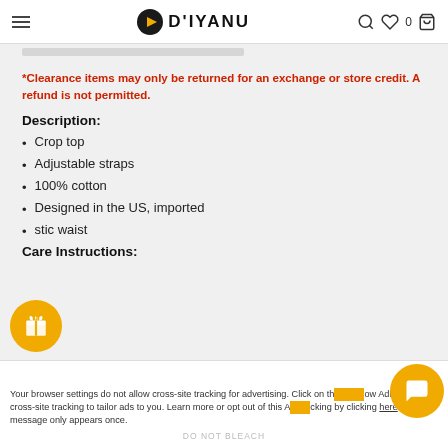D'IYANU
*Clearance items may only be returned for an exchange or store credit. A refund is not permitted.
Description:
Crop top
Adjustable straps
100% cotton
Designed in the US, imported
stic waist
Care Instructions:
Your browser settings do not allow cross-site tracking for advertising. Click on the allow AdRoll to use cross-site tracking to tailor ads to you. Learn more or opt out of this AdRoll tracking by clicking here. This message only appears once.